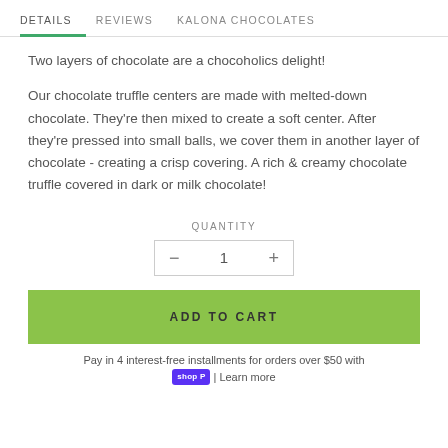DETAILS   REVIEWS   KALONA CHOCOLATES
Two layers of chocolate are a chocoholics delight!
Our chocolate truffle centers are made with melted-down chocolate. They're then mixed to create a soft center. After they're pressed into small balls, we cover them in another layer of chocolate - creating a crisp covering. A rich & creamy chocolate truffle covered in dark or milk chocolate!
QUANTITY
− 1 +
ADD TO CART
Pay in 4 interest-free installments for orders over $50 with shop | Learn more